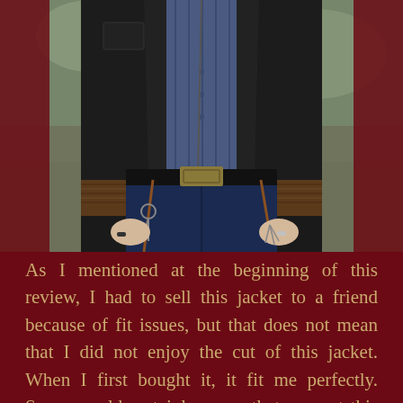[Figure (photo): Photo of a person from the chest down wearing a black leather bomber jacket over a blue pinstripe shirt, dark jeans with a black belt with a large gold buckle, rings on fingers, and a brown leather strap/lanyard with keys hanging from the belt loops. Background is blurred outdoor setting.]
As I mentioned at the beginning of this review, I had to sell this jacket to a friend because of fit issues, but that does not mean that I did not enjoy the cut of this jacket. When I first bought it, it fit me perfectly. Some would certainly argue that even at this point, it fit too slim, but that was what I loved about it. I could still comfortably zip it up and move around, but